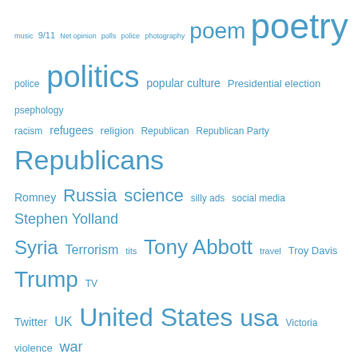music · 9/11 · Net opinion · polls · police · photography · poem · poetry · police · politics · popular culture · Presidential election · psephology · racism · refugees · religion · Republican · Republican Party · Republicans · Romney · Russia · science · silly ads · social media · Stephen Yolland · Syria · Terrorism · tits · Tony Abbott · travel · Troy Davis · Trump · TV · Twitter · UK · United States · usa · Victoria · violence · war · Wellthisiswhatithink · women's rights · writing · YouTube
Blogs I Follow
Musings by George Polley
matteringsofmind
Well, This Is What I Think
wandering through her soul
The Blurred Line
Jenie Yolland Glass Artist